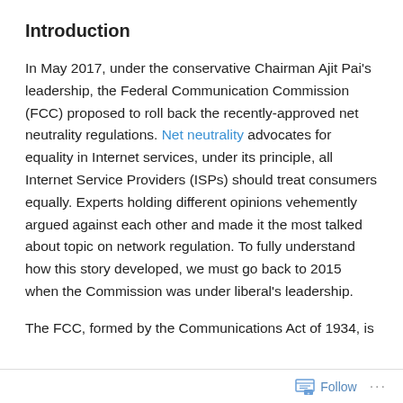Introduction
In May 2017, under the conservative Chairman Ajit Pai's leadership, the Federal Communication Commission (FCC) proposed to roll back the recently-approved net neutrality regulations. Net neutrality advocates for equality in Internet services, under its principle, all Internet Service Providers (ISPs) should treat consumers equally. Experts holding different opinions vehemently argued against each other and made it the most talked about topic on network regulation. To fully understand how this story developed, we must go back to 2015 when the Commission was under liberal's leadership.
The FCC, formed by the Communications Act of 1934, is
Follow ...